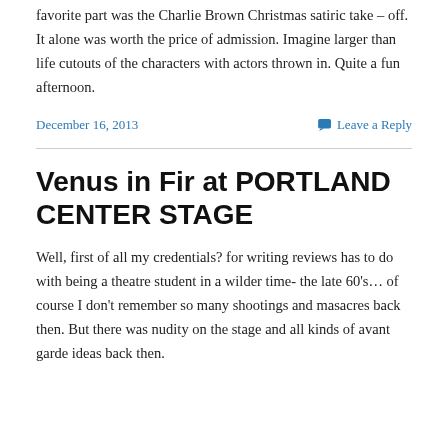favorite part was the Charlie Brown Christmas satiric take – off. It alone was worth the price of admission. Imagine larger than life cutouts of the characters with actors thrown in. Quite a fun afternoon.
December 16, 2013
Leave a Reply
Venus in Fir at PORTLAND CENTER STAGE
Well, first of all my credentials? for writing reviews has to do with being a theatre student in a wilder time- the late 60's… of course I don't remember so many shootings and masacres back then. But there was nudity on the stage and all kinds of avant garde ideas back then.